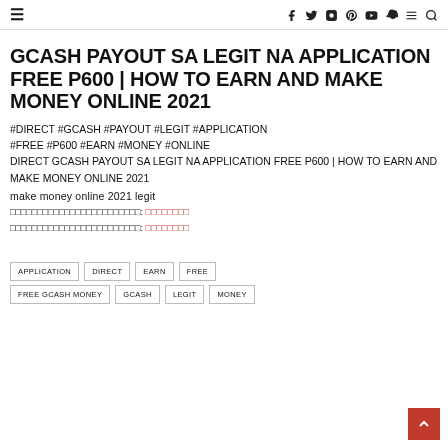≡  f  𝕏  ◻  𝕡  ▷  ◉  ≡  🔍
DIRECT GCASH PAYOUT SA LEGIT NA APPLICATION FREE P600 | HOW TO EARN AND MAKE MONEY ONLINE 2021
#DIRECT #GCASH #PAYOUT #LEGIT #APPLICATION #FREE #P600 #EARN #MONEY #ONLINE
DIRECT GCASH PAYOUT SA LEGIT NA APPLICATION FREE P600 | HOW TO EARN AND MAKE MONEY ONLINE 2021
make money online 2021 legit
□□□□□□□□□□□□□□□□ □□□□□□□□: □□□□□□□□
□□□□□□□□□□□□□□□□ □□□□□□□□: □□□□□□□□
APPLICATION
DIRECT
EARN
FREE
FREE GCASH MONEY
GCASH
LEGIT
MONEY